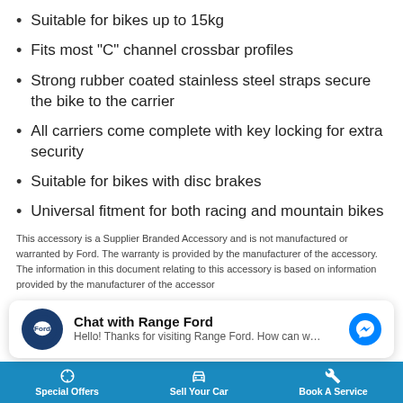Suitable for bikes up to 15kg
Fits most "C" channel crossbar profiles
Strong rubber coated stainless steel straps secure the bike to the carrier
All carriers come complete with key locking for extra security
Suitable for bikes with disc brakes
Universal fitment for both racing and mountain bikes
This accessory is a Supplier Branded Accessory and is not manufactured or warranted by Ford. The warranty is provided by the manufacturer of the accessory. The information in this document relating to this accessory is based on information provided by the manufacturer of the accessory.
[Figure (screenshot): Chat with Range Ford widget at bottom of page with Ford logo and Messenger icon]